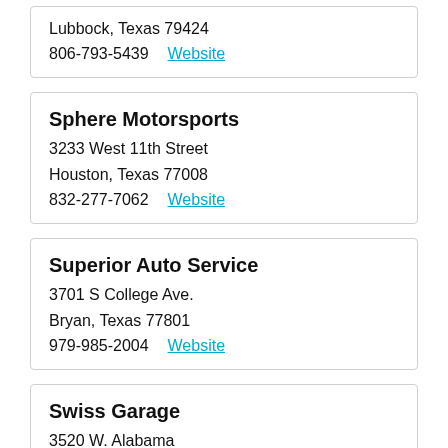Lubbock, Texas 79424
806-793-5439  Website
Sphere Motorsports
3233 West 11th Street
Houston, Texas 77008
832-277-7062  Website
Superior Auto Service
3701 S College Ave.
Bryan, Texas 77801
979-985-2004  Website
Swiss Garage
3520 W. Alabama
Houston, Texas 77027
713-626-9329  Website